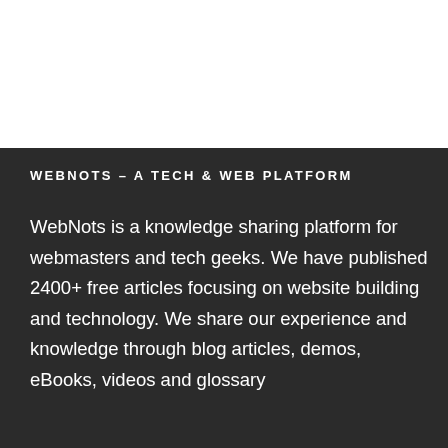WEBNOTS – A TECH & WEB PLATFORM
WebNots is a knowledge sharing platform for webmasters and tech geeks. We have published 2400+ free articles focusing on website building and technology. We share our experience and knowledge through blog articles, demos, eBooks, videos and glossary